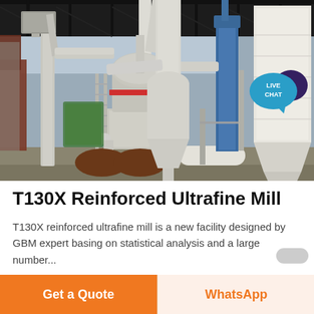[Figure (photo): Industrial T130X Reinforced Ultrafine Mill facility with large machinery including conveyors, cyclone separators, bag filters and grinding mill under a shed structure. A 'LIVE CHAT' bubble is visible in the top-right corner of the image.]
T130X Reinforced Ultrafine Mill
T130X reinforced ultrafine mill is a new facility designed by GBM expert basing on statistical analysis and a large number...
Get a Quote
WhatsApp